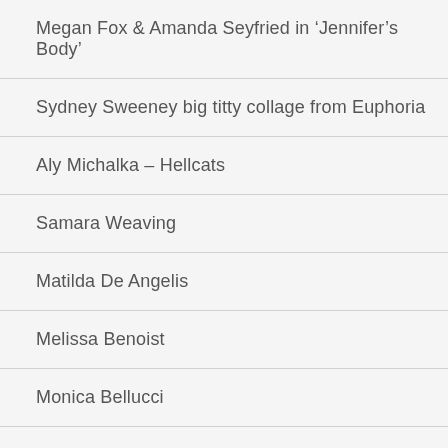Megan Fox & Amanda Seyfried in ‘Jennifer’s Body’
Sydney Sweeney big titty collage from Euphoria
Aly Michalka – Hellcats
Samara Weaving
Matilda De Angelis
Melissa Benoist
Monica Bellucci